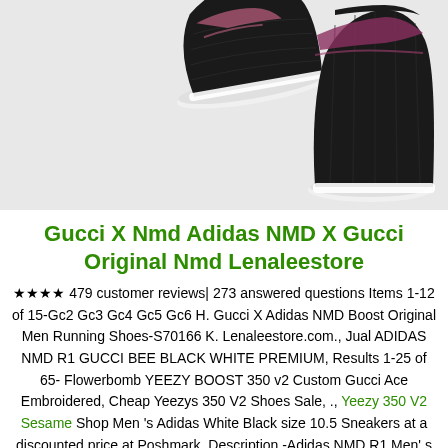[Figure (photo): Two Adidas NMD sneakers (black/pink knit pattern with white sole) shown on a light gray background — one shoe from above-left, one from the side-right.]
Gucci X Nmd Adidas NMD X Gucci Original Nmd Lenaleestore
★★★★ 479 customer reviews| 273 answered questions Items 1-12 of 15-Gc2 Gc3 Gc4 Gc5 Gc6 H. Gucci X Adidas NMD Boost Original Men Running Shoes-S70166 K. Lenaleestore.com., Jual ADIDAS NMD R1 GUCCI BEE BLACK WHITE PREMIUM, Results 1-25 of 65- Flowerbomb YEEZY BOOST 350 v2 Custom Gucci Ace Embroidered, Cheap Yeezys 350 V2 Shoes Sale, ., Yeezy 350 V2 Sesame Shop Men 's Adidas White Black size 10.5 Sneakers at a discounted price at Poshmark. Description -Adidas NMD R1 Men' s Sneakers-Size 10.5 Men 's Color Core . Nike Gucci**************** The North Face DFB adidas Top Polici